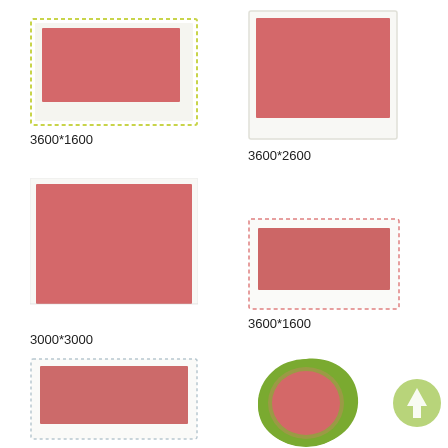[Figure (illustration): Rectangle with salmon/red fill, dashed yellow-green border, top-left quadrant]
3600*1600
[Figure (illustration): Rectangle with salmon/red fill, thin white/light border, top-right quadrant]
3600*2600
[Figure (illustration): Larger square-ish rectangle with salmon/red fill, white border bottom, middle-left quadrant]
3000*3000
[Figure (illustration): Smaller rectangle with salmon/red fill, dashed red border, middle-right quadrant]
3600*1600
[Figure (illustration): Rectangle with salmon/red fill, dashed light border, bottom-left quadrant]
[Figure (illustration): Circle with green organic blob border and salmon/red fill circle inside, bottom-right area]
[Figure (illustration): Green circle with upward arrow, bottom-right corner]